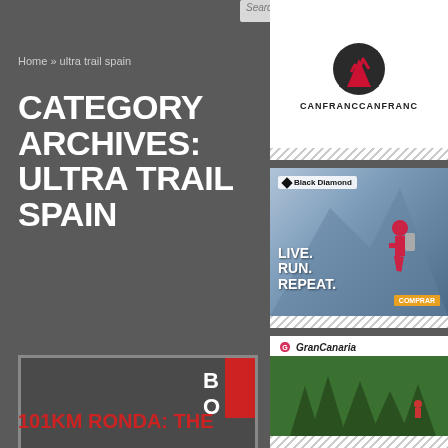Search this website...
Home » ultra trail spain
CATEGORY ARCHIVES: ULTRA TRAIL SPAIN
[Figure (logo): CANFRANCCANFRANC logo with mountain peak icon in dark circle with red zigzag]
[Figure (photo): Black Diamond ad showing runner in mountains with text LIVE. RUN. REPEAT.]
[Figure (photo): Gran Canaria ad showing runner in forest]
[Figure (photo): Article thumbnail image placeholder]
101KM RONDA: THE